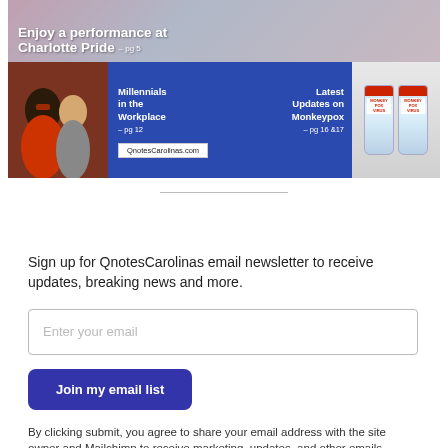[Figure (screenshot): QnotesCarolinas newspaper banner advertisement showing two rows: top row with text 'Enjoy a performance at Charlotte Pride - pg 5' over a colorful background, bottom row with a blue background showing 'Millennials in the Workplace - pg 12', 'Latest Updates on Monkeypox - pg 16 & 17', QnotesCarolinas.com URL, people photo on left, and monkeypox vaccine vials on right.]
Sign up for QnotesCarolinas email newsletter to receive updates, breaking news and more.
Enter your email
Join my email list
By clicking submit, you agree to share your email address with the site owner and Mailchimp to receive marketing, updates, and other emails